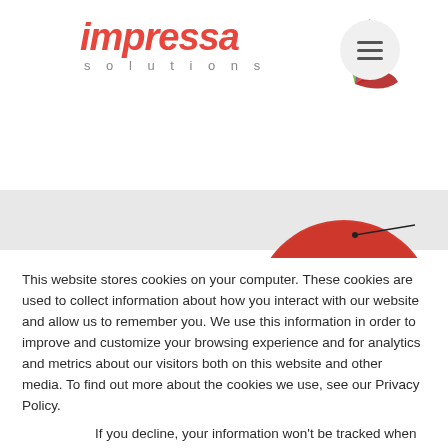[Figure (logo): Impressa Solutions logo with colorful fan/feather icon and italic red 'impressa' text with 'solutions' in gray spaced letters below]
[Figure (illustration): Top portion of a red sparkly/glittery circle (cookie) with a dark needle or antenna protruding from it, partially visible at the bottom of the header area]
This website stores cookies on your computer. These cookies are used to collect information about how you interact with our website and allow us to remember you. We use this information in order to improve and customize your browsing experience and for analytics and metrics about our visitors both on this website and other media. To find out more about the cookies we use, see our Privacy Policy.
If you decline, your information won't be tracked when you visit this website. A single cookie will be used in your browser to remember your preference not to be tracked.
Accept
Decline